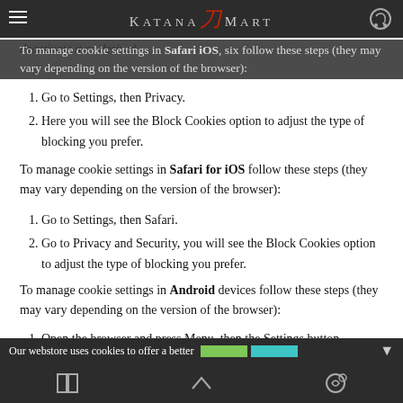KatanaMart (with logo/navigation)
deactivate it as desired.
To manage cookie settings in Safari iOS, six follow these steps (they may vary depending on the version of the browser):
1. Go to Settings, then Privacy.
2. Here you will see the Block Cookies option to adjust the type of blocking you prefer.
To manage cookie settings in Safari for iOS follow these steps (they may vary depending on the version of the browser):
1. Go to Settings, then Safari.
2. Go to Privacy and Security, you will see the Block Cookies option to adjust the type of blocking you prefer.
To manage cookie settings in Android devices follow these steps (they may vary depending on the version of the browser):
1. Open the browser and press Menu, then the Settings button.
2. Go to Security and Privacy, you will see the option Accept Cookies for you to activate or deactivate the box.
To manage cookie settings in Windows Phone devices follow these steps
Our webstore uses cookies to offer a better